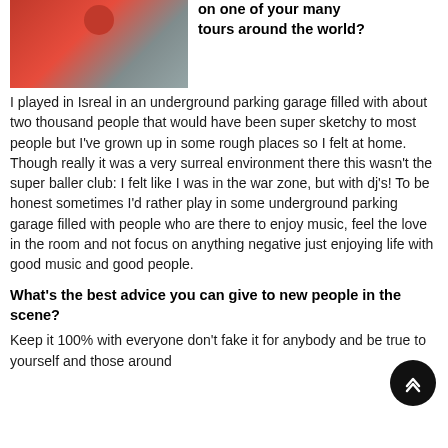[Figure (photo): Man in red polo shirt, partial view, appears to be DJing or holding equipment]
on one of your many tours around the world?
I played in Isreal in an underground parking garage filled with about two thousand people that would have been super sketchy to most people but I've grown up in some rough places so I felt at home. Though really it was a very surreal environment there this wasn't the super baller club: I felt like I was in the war zone, but with dj's! To be honest sometimes I'd rather play in some underground parking garage filled with people who are there to enjoy music, feel the love in the room and not focus on anything negative just enjoying life with good music and good people.
What's the best advice you can give to new people in the scene?
Keep it 100% with everyone don't fake it for anybody and be true to yourself and those around